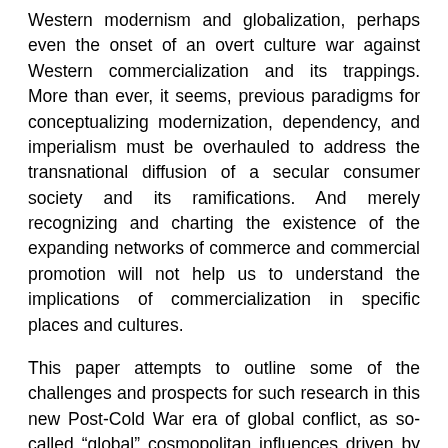Western modernism and globalization, perhaps even the onset of an overt culture war against Western commercialization and its trappings. More than ever, it seems, previous paradigms for conceptualizing modernization, dependency, and imperialism must be overhauled to address the transnational diffusion of a secular consumer society and its ramifications. And merely recognizing and charting the existence of the expanding networks of commerce and commercial promotion will not help us to understand the implications of commercialization in specific places and cultures.
This paper attempts to outline some of the challenges and prospects for such research in this new Post-Cold War era of global conflict, as so-called “global” cosmopolitan influences driven by the logic of commercial marketing interact with the diverse features of local cultures. In the sections that follow I try to contextualize this challenge for transnational media studies